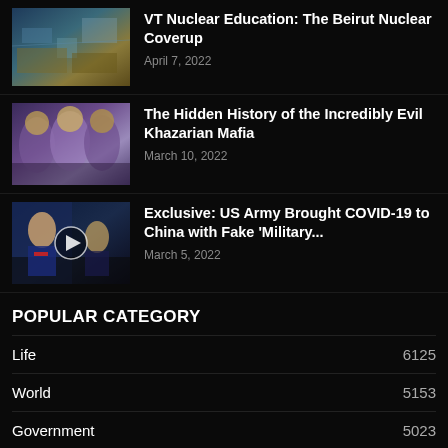[Figure (photo): Aerial view of city/port damage]
VT Nuclear Education: The Beirut Nuclear Coverup
April 7, 2022
[Figure (photo): Historical painting of robed figures]
The Hidden History of the Incredibly Evil Khazarian Mafia
March 10, 2022
[Figure (photo): Trump and Pence at press briefing podium, video play button overlay]
Exclusive: US Army Brought COVID-19 to China with Fake ‘Military...
March 5, 2022
POPULAR CATEGORY
| Category | Count |
| --- | --- |
| Life | 6125 |
| World | 5153 |
| Government | 5023 |
| Investigations | 3844 |